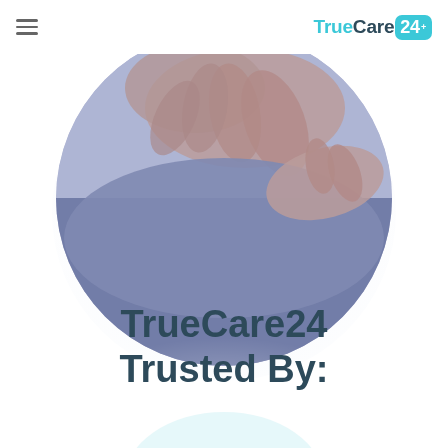TrueCare24
[Figure (photo): Circular cropped photo of hands performing what appears to be a medical massage or physical therapy on a person's back/shoulder area, with blue-purple tones.]
TrueCare24 Trusted By: